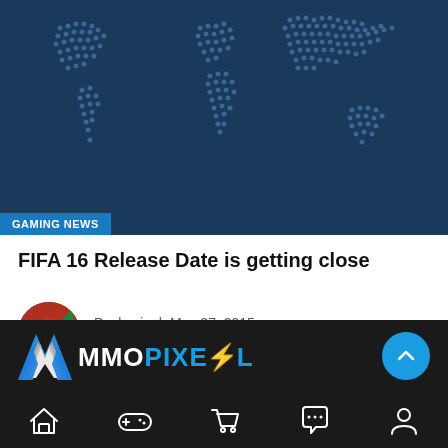[Figure (illustration): Dark blue hero image with white dot world map pattern and a 'GAMING NEWS' badge in the bottom left corner]
FIFA 16 Release Date is getting close
By kevin | May 27, 2015
818 Views , 0 Comments
EA Sports is planning on adding new leagues such as Brazil, Chile, and three more South American leagues in FIFA 16. FIFA 16 is also rumoured to release around…
[Figure (logo): MMOPixel logo with stylized M icon and blue/white text on dark background, with scroll-to-top button and navigation icons for home, gamepad, cart, chat, user]